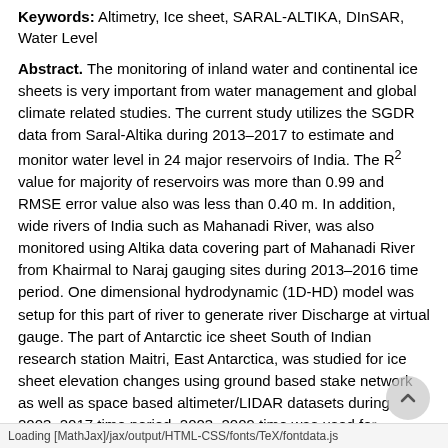Keywords: Altimetry, Ice sheet, SARAL-ALTIKA, DInSAR, Water Level
Abstract. The monitoring of inland water and continental ice sheets is very important from water management and global climate related studies. The current study utilizes the SGDR data from Saral-Altika during 2013–2017 to estimate and monitor water level in 24 major reservoirs of India. The R² value for majority of reservoirs was more than 0.99 and RMSE error value also was less than 0.40 m. In addition, wide rivers of India such as Mahanadi River, was also monitored using Altika data covering part of Mahanadi River from Khairmal to Naraj gauging sites during 2013–2016 time period. One dimensional hydrodynamic (1D-HD) model was setup for this part of river to generate river Discharge at virtual gauge. The part of Antarctic ice sheet South of Indian research station Maitri, East Antarctica, was studied for ice sheet elevation changes using ground based stake network as well as space based altimeter/LIDAR datasets during 2003–2017 time period. 2003–2009 time was used for during altimetry studies using (2003) ALTIMETRY
Loading [MathJax]/jax/output/HTML-CSS/fonts/TeX/fontdata.js